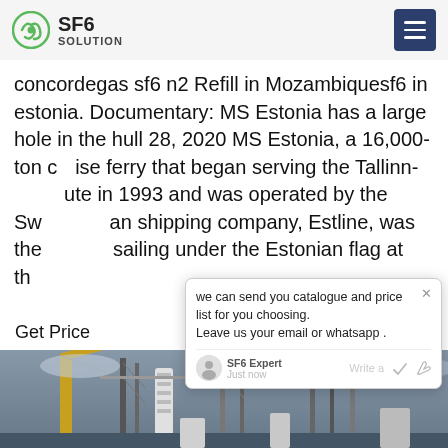SF6 SOLUTION
concordegas sf6 n2 Refill in Mozambiquesf6 in estonia. Documentary: MS Estonia has a large hole in the hull 28, 2020 MS Estonia, a 16,000-ton cruise ferry that began serving the Tallinn-Stockholm route in 1993 and was operated by the Swedish-Estonian shipping company, Estline, was the largest vessel sailing under the Estonian flag at the
Get Price
[Figure (screenshot): Chat popup overlay with message: we can send you catalogue and price list for you choosing. Leave us your email or whatsapp. SF6 Expert, just now. Write a message interface with like and attachment icons.]
[Figure (photo): Photograph of electrical power substation with cranes, insulators, high-voltage equipment and transmission towers against cloudy sky.]